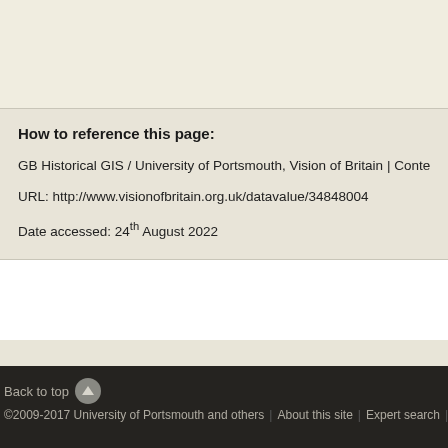How to reference this page:
GB Historical GIS / University of Portsmouth, Vision of Britain | Context for data va
URL: http://www.visionofbritain.org.uk/datavalue/34848004
Date accessed: 24th August 2022
Back to top | ©2009-2017 University of Portsmouth and others | About this site | Expert search | Web